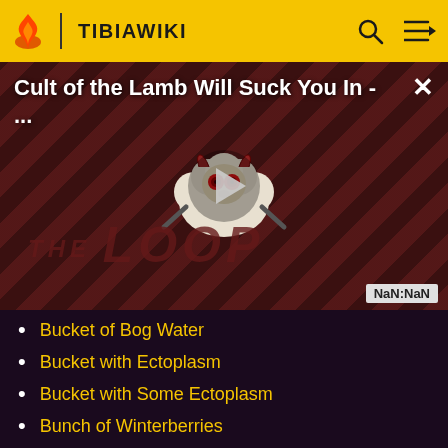TIBIAWIKI
[Figure (screenshot): Video thumbnail for 'Cult of the Lamb Will Suck You In - ...' showing a cartoon lamb creature with red eyes and devil horns on a dark red striped background with 'THE LOOP' text. A play button is centered on the image. Timer shows NaN:NaN.]
Bucket of Bog Water
Bucket with Ectoplasm
Bucket with Some Ectoplasm
Bunch of Winterberries
Bundle of Letters